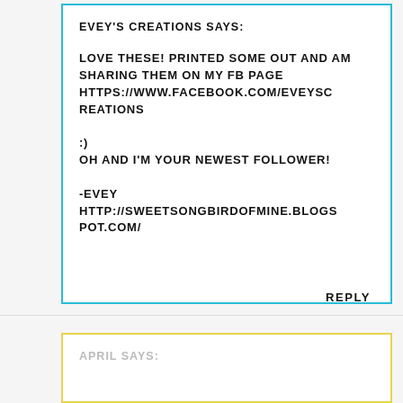EVEY'S CREATIONS SAYS:
LOVE THESE! PRINTED SOME OUT AND AM SHARING THEM ON MY FB PAGE HTTPS://WWW.FACEBOOK.COM/EVEYSCREATIONS

:)
OH AND I'M YOUR NEWEST FOLLOWER!

-EVEY
HTTP://SWEETSONGBIRDOFMINE.BLOGSPOT.COM/
REPLY
APRIL SAYS: